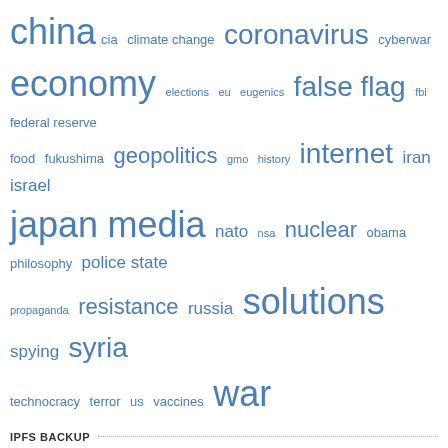[Figure (infographic): Tag cloud with words related to geopolitics, media, and news topics in varying sizes and shades of blue]
IPFS BACKUP
[Figure (logo): The Corbett Report IPFS logo on dark blue background with network graph pattern]
What's this?